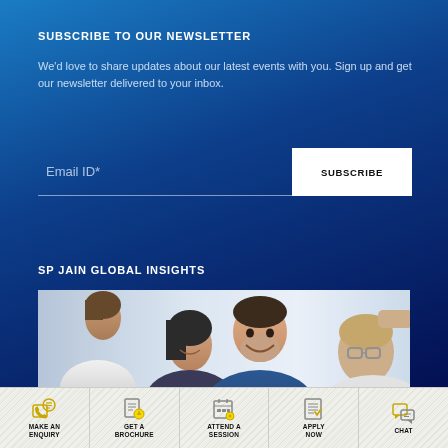SUBSCRIBE TO OUR NEWSLETTER
We'd love to share updates about our latest events with you. Sign up and get our newsletter delivered to your inbox.
[Figure (screenshot): Email subscription form with 'Email ID*' text field and 'SUBSCRIBE' button]
SP JAIN GLOBAL INSIGHTS
[Figure (photo): Group of business professionals smiling and engaged in discussion]
MAKE AN ENQUIRY
GET A BROCHURE
ATTEND A SESSION
APPLY NOW
CHAT